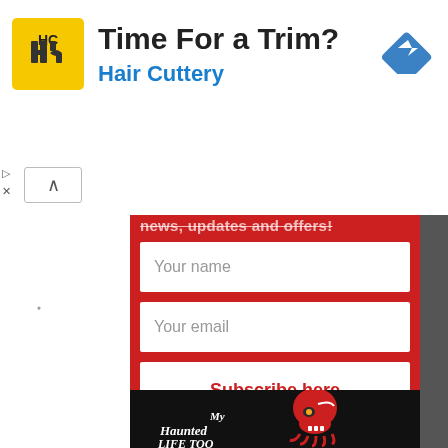[Figure (screenshot): Advertisement banner for Hair Cuttery with yellow HC logo, bold text 'Time For a Trim?' and blue subtitle 'Hair Cuttery', with a blue navigation diamond icon on the right]
news, updates and offers!
Your name
Your email
Subscribe here
[Figure (logo): My Haunted Life Too logo: red skull with eye patch and orange sun, white hand-lettered text on black background]